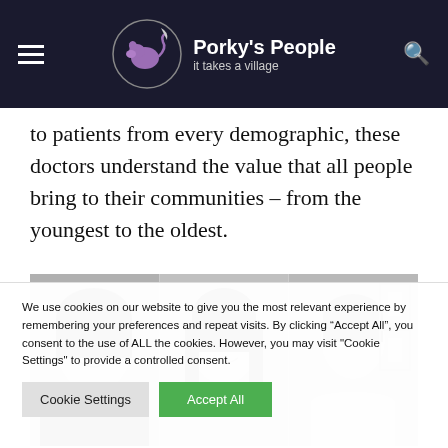Porky's People – it takes a village
to patients from every demographic, these doctors understand the value that all people bring to their communities – from the youngest to the oldest.
[Figure (photo): Black and white photo strip showing three people side by side: a woman with dark hair smiling on the left, a woman with long dark hair smiling in the center, and a man with short hair looking forward on the right.]
We use cookies on our website to give you the most relevant experience by remembering your preferences and repeat visits. By clicking “Accept All”, you consent to the use of ALL the cookies. However, you may visit "Cookie Settings" to provide a controlled consent.